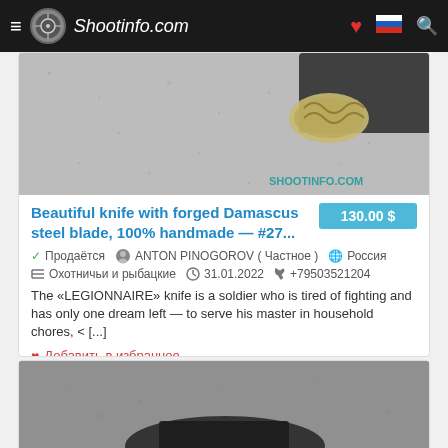Shootinfo.com
[Figure (photo): Close-up photo of a Damascus steel knife blade with ornate metalwork handle guard on stone/concrete surface, with watermark 'shootinfo.com']
Beautiful knife with forged Damascus steel blade, 100% handmade — #27...
130.00 $
✓ Продаётся   ANTON PINOGOROV ( Частное )   🌐 Россия
☰ Охотничьи и рыбацкие   🕐 31.01.2022   📞 +79503521204
The «LEGIONNAIRE» knife is a soldier who is tired of fighting and has only one dream left — to serve his master in household chores, < [...]
❤ Добавить в избранное
[Figure (photo): Partial view of another knife product photo, dark/grey tones, bottom of page]